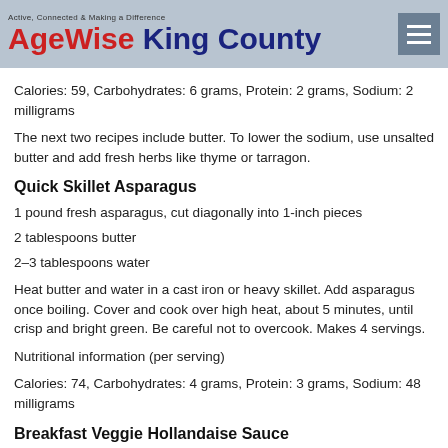AgeWise King County — Active, Connected & Making a Difference
Calories: 59, Carbohydrates: 6 grams, Protein: 2 grams, Sodium: 2 milligrams
The next two recipes include butter. To lower the sodium, use unsalted butter and add fresh herbs like thyme or tarragon.
Quick Skillet Asparagus
1 pound fresh asparagus, cut diagonally into 1-inch pieces
2 tablespoons butter
2–3 tablespoons water
Heat butter and water in a cast iron or heavy skillet. Add asparagus once boiling. Cover and cook over high heat, about 5 minutes, until crisp and bright green. Be careful not to overcook. Makes 4 servings.
Nutritional information (per serving)
Calories: 74, Carbohydrates: 4 grams, Protein: 3 grams, Sodium: 48 milligrams
Breakfast Veggie Hollandaise Sauce